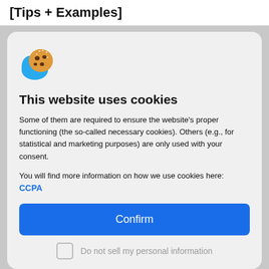[Tips + Examples]
[Figure (illustration): Cookie emoji icon — a blue bird shape with a chocolate chip cookie on top with white sprinkles]
This website uses cookies
Some of them are required to ensure the website's proper functioning (the so-called necessary cookies). Others (e.g., for statistical and marketing purposes) are only used with your consent.
You will find more information on how we use cookies here: CCPA
Confirm
Do not sell my personal information
Personality